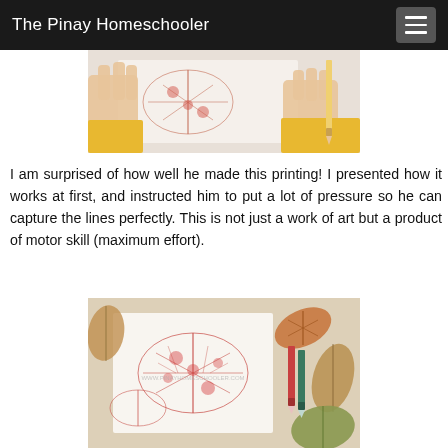The Pinay Homeschooler
[Figure (photo): Close-up photo of a child's hands pressing on paper with leaf rubbings in red/orange colors, child wearing yellow sleeves]
I am surprised of how well he made this printing! I presented how it works at first, and instructed him to put a lot of pressure so he can capture the lines perfectly. This is not just a work of art but a product of motor skill (maximum effort).
[Figure (photo): Overhead flat-lay photo of leaf rubbings on white paper in red/orange crayon, with actual autumn leaves and colored pencils arranged around the paper, watermark reading www.pinayhomeschooler.com]